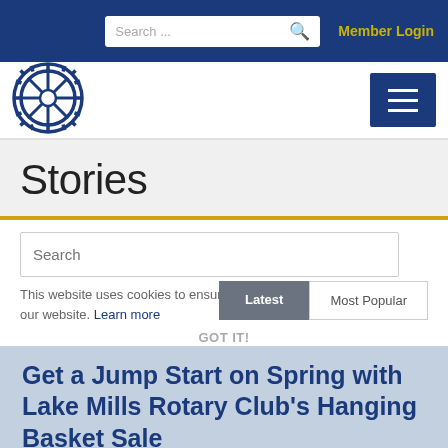Search ... [search icon]  Member Login
[Figure (logo): Rotary Club gear/wheel logo in blue and white]
Stories
Search
This website uses cookies to ensure you get the best experience on our website. Learn more
Latest   Most Popular
GOT IT!
Get a Jump Start on Spring with Lake Mills Rotary Club's Hanging Basket Sale